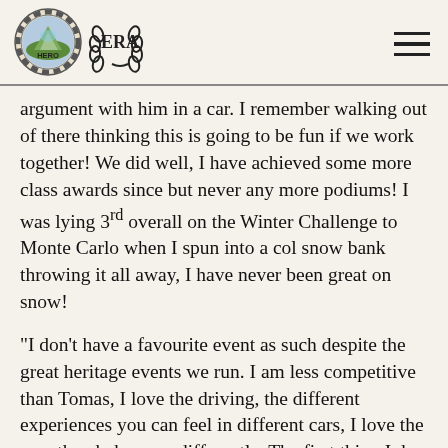HERO ERA logos and navigation
argument with him in a car. I remember walking out of there thinking this is going to be fun if we work together! We did well, I have achieved some more class awards since but never any more podiums! I was lying 3rd overall on the Winter Challenge to Monte Carlo when I spun into a col snow bank throwing it all away, I have never been great on snow!
“I don’t have a favourite event as such despite the great heritage events we run. I am less competitive than Tomas, I love the driving, the different experiences you can feel in different cars, I love the way they behave so differently. The first thing I do when I get into a car is smell, for me it already tells me a lot about the car, if I’m going to like it or not. You